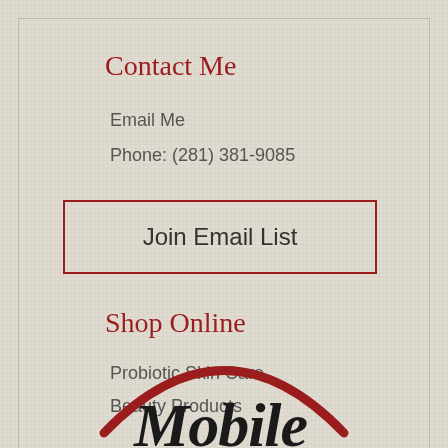Contact Me
Email Me
Phone: (281) 381-9085
Join Email List
Shop Online
Probiotic Skin Care
Beauty Products
[Figure (logo): Partial logo with red arch and cursive text reading 'Mobile']